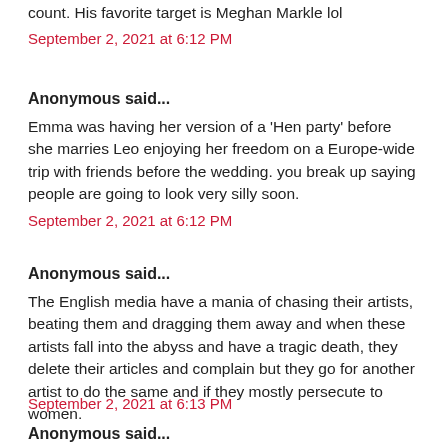count. His favorite target is Meghan Markle lol
September 2, 2021 at 6:12 PM
Anonymous said...
Emma was having her version of a 'Hen party' before she marries Leo enjoying her freedom on a Europe-wide trip with friends before the wedding. you break up saying people are going to look very silly soon.
September 2, 2021 at 6:12 PM
Anonymous said...
The English media have a mania of chasing their artists, beating them and dragging them away and when these artists fall into the abyss and have a tragic death, they delete their articles and complain but they go for another artist to do the same and if they mostly persecute to women.
September 2, 2021 at 6:13 PM
Anonymous said...